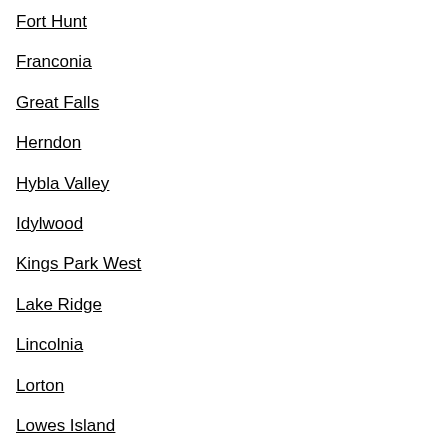Fort Hunt
Franconia
Great Falls
Herndon
Hybla Valley
Idylwood
Kings Park West
Lake Ridge
Lincolnia
Lorton
Lowes Island